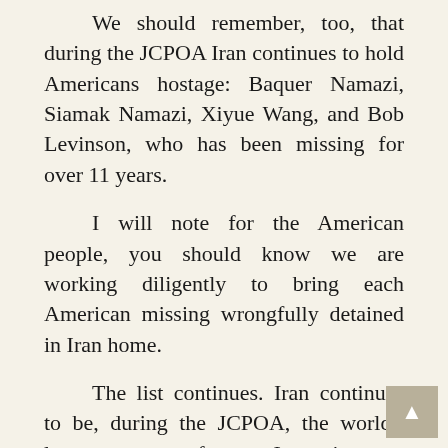We should remember, too, that during the JCPOA Iran continues to hold Americans hostage: Baquer Namazi, Siamak Namazi, Xiyue Wang, and Bob Levinson, who has been missing for over 11 years.
I will note for the American people, you should know we are working diligently to bring each American missing wrongfully detained in Iran home.
The list continues. Iran continues to be, during the JCPOA, the world's largest sponsor of terror. It continues to serve as sanctuary for al-Qaida, as it has done since 9/11, and